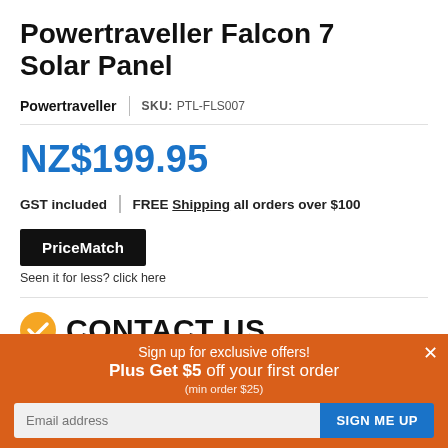Powertraveller Falcon 7 Solar Panel
Powertraveller | SKU: PTL-FLS007
NZ$199.95
GST included | FREE Shipping all orders over $100
PriceMatch
Seen it for less? click here
CONTACT US
Please call to check availability
Sign up for exclusive offers! Plus Get $5 off your first order (min order $25)